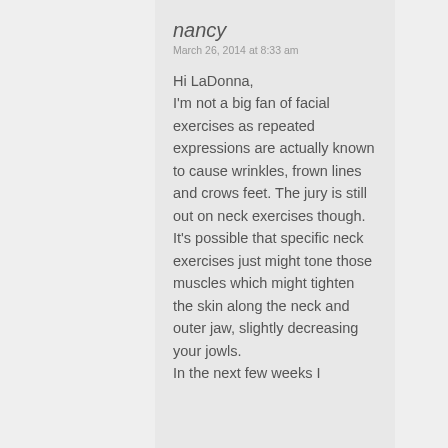nancy
March 26, 2014 at 8:33 am
Hi LaDonna,
I'm not a big fan of facial exercises as repeated expressions are actually known to cause wrinkles, frown lines and crows feet. The jury is still out on neck exercises though. It's possible that specific neck exercises just might tone those muscles which might tighten the skin along the neck and outer jaw, slightly decreasing your jowls.
In the next few weeks I